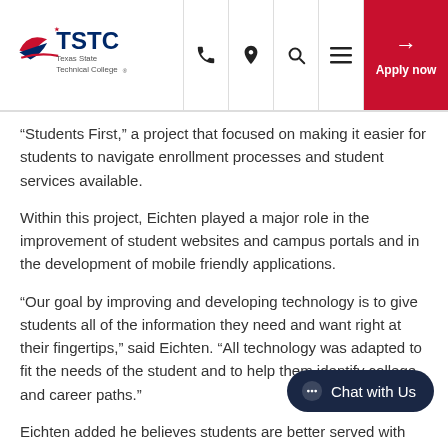TSTC Texas State Technical College — navigation bar with logo, phone, location, search, menu icons, and Apply now button
“Students First,” a project that focused on making it easier for students to navigate enrollment processes and student services available.
Within this project, Eichten played a major role in the improvement of student websites and campus portals and in the development of mobile friendly applications.
“Our goal by improving and developing technology is to give students all of the information they need and want right at their fingertips,” said Eichten. “All technology was adapted to fit the needs of the student and to help them identify college and career paths.”
Eichten added he believes students are better served with technology that gives them immediate so…
Which is why his goals as TSTC’s campus…